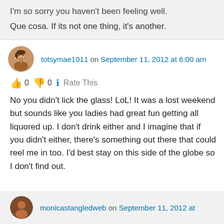I'm so sorry you haven't been feeling well. Que cosa. If its not one thing, it's another.
totsymae1011 on September 11, 2012 at 6:00 am
👍 0 👎 0 ℹ Rate This
No you didn't lick the glass! LoL! It was a lost weekend but sounds like you ladies had great fun getting all liquored up. I don't drink either and I imagine that if you didn't either, there's something out there that could reel me in too. I'd best stay on this side of the globe so I don't find out.
monicastangledweb on September 11, 2012 at